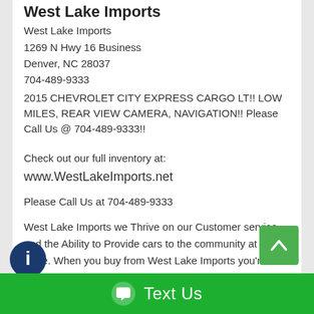West Lake Imports
West Lake Imports
1269 N Hwy 16 Business
Denver, NC 28037
704-489-9333
2015 CHEVROLET CITY EXPRESS CARGO LT!! LOW MILES, REAR VIEW CAMERA, NAVIGATION!! Please Call Us @ 704-489-9333!!
Check out our full inventory at:
www.WestLakeImports.net
Please Call Us at 704-489-9333
West Lake Imports we Thrive on our Customer service and the Ability to Provide cars to the community at a Fair Price. When you buy from West Lake Imports you're purchasing Customer service as well as a Car
[Figure (other): Green scroll-to-top button with upward chevron arrow]
[Figure (other): Dark blue circular info/chat icon at bottom left]
Text Us